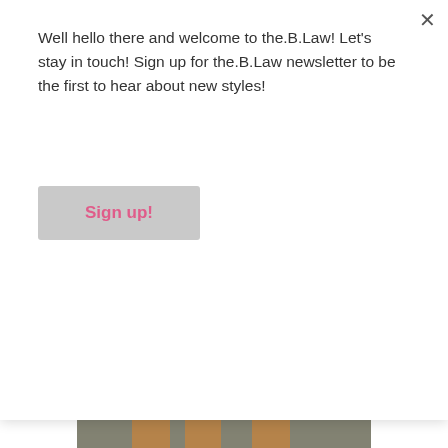Well hello there and welcome to the.B.Law! Let's stay in touch! Sign up for the.B.Law newsletter to be the first to hear about new styles!
Sign up!
[Figure (photo): Two people's legs from the knees down, wearing sandals/flip-flops, standing on a concrete or asphalt surface]
DATING, THE.B.LAW, TRAGIC GIRLS
Chase Me Gosh Darn-It!